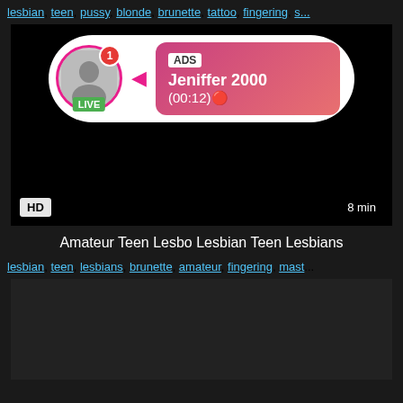lesbian, teen, pussy, blonde, brunette, tattoo, fingering, s...
[Figure (screenshot): Video thumbnail with ad overlay showing Jeniffer 2000 LIVE stream advertisement with HD badge and 8 min duration]
Amateur Teen Lesbo Lesbian Teen Lesbians
lesbian, teen, lesbians, brunette, amateur, fingering, mast...
[Figure (screenshot): Dark video thumbnail, second video]